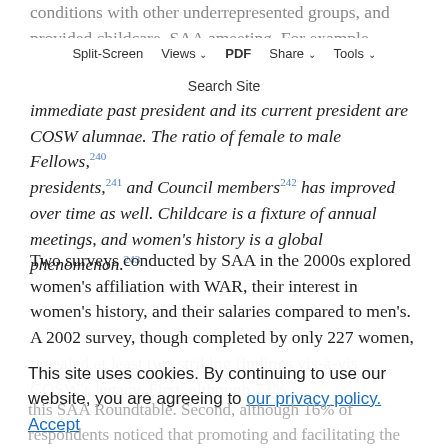…conditions with other underrepresented groups, and provided childcare. SAA adopted meeting… For example, SAA's immediate past president and its current president are COSW alumnae. The ratio of female to male Fellows,240 presidents,241 and Council members242 has improved over time as well. Childcare is a fixture of annual meetings, and women's history is a global phenomenon.243
Two surveys conducted by SAA in the 2000s explored women's affiliation with WAR, their interest in women's history, and their salaries compared to men's. A 2002 survey, though completed by only 227 women, revealed at least two striking findings vis-à-vis COSW's legacy. First, although 73% of respondents were SAA members, only 10% were members of this SAA Roundtable. Second, although 16% of respondents noticed that promoting and facilitating the writing of women's history…
This site uses cookies. By continuing to use our website, you are agreeing to our privacy policy. Accept